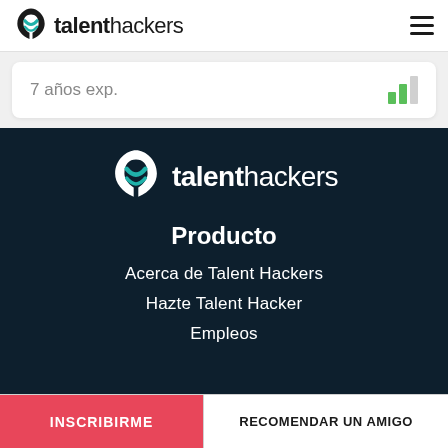talenthackers
7 años exp.
[Figure (logo): talenthackers logo with teal/white icon on dark background]
Producto
Acerca de Talent Hackers
Hazte Talent Hacker
Empleos
INSCRIBIRME | RECOMENDAR UN AMIGO